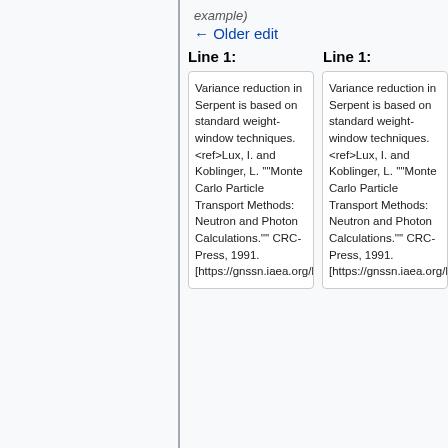example)
← Older edit
Line 1:
Line 1:
Variance reduction in Serpent is based on standard weight-window techniques. <ref>Lux, I. and Koblinger, L. '"Monte Carlo Particle Transport Methods: Neutron and Photon Calculations.'"' CRC-Press, 1991. [https://gnssn.iaea.org/NSNI/Shar
Variance reduction in Serpent is based on standard weight-window techniques. <ref>Lux, I. and Koblinger, L. '"Monte Carlo Particle Transport Methods: Neutron and Photon Calculations.'"' CRC-Press, 1991. [https://gnssn.iaea.org/NSNI/Shar